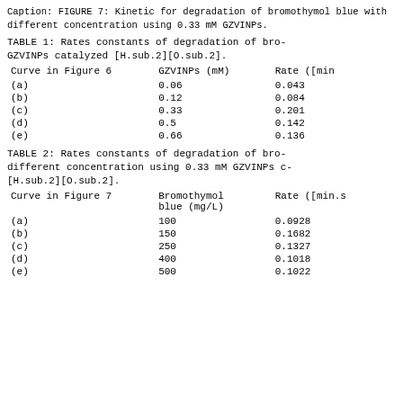Caption: FIGURE 7: Kinetic for degradation of bromothymol blue with different concentration using 0.33 mM GZVINPs.
TABLE 1: Rates constants of degradation of bro... GZVINPs catalyzed [H.sub.2][O.sub.2].
| Curve in Figure 6 | GZVINPs (mM) | Rate ([min... |
| --- | --- | --- |
| (a) | 0.06 | 0.043 |
| (b) | 0.12 | 0.084 |
| (c) | 0.33 | 0.201 |
| (d) | 0.5 | 0.142 |
| (e) | 0.66 | 0.136 |
TABLE 2: Rates constants of degradation of bro... different concentration using 0.33 mM GZVINPs c... [H.sub.2][O.sub.2].
| Curve in Figure 7 | Bromothymol blue (mg/L) | Rate ([min.s... |
| --- | --- | --- |
| (a) | 100 | 0.0928 |
| (b) | 150 | 0.1682 |
| (c) | 250 | 0.1327 |
| (d) | 400 | 0.1018 |
| (e) | 500 | 0.1022 |